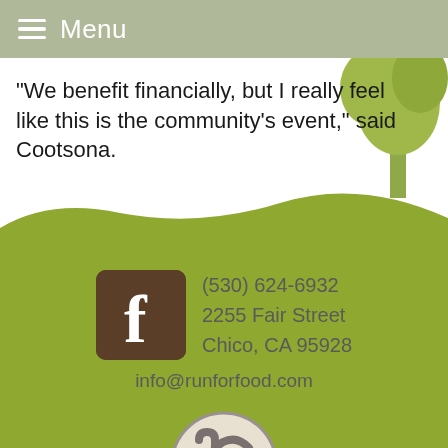Menu
"We benefit financially, but I really feel like this is the community's event," said Cootsona.
[Figure (illustration): Green rolling hill landscape background with tree silhouette in upper right corner]
[Figure (logo): Facebook logo icon (brown rounded square with white 'f')]
(530) 624-6932
2255 Fair Street
Chico, CA 95928
info@runforfood.com
[Figure (logo): Jesus Center circular logo with stylized 'jc' letters]
JESUS CENTER